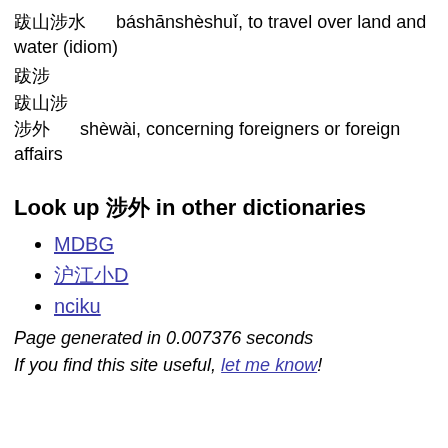跋山涉水 báshānshèshuǐ, to travel over land and water (idiom)
跋涉
跋山涉
涉外 shèwài, concerning foreigners or foreign affairs
Look up 涉外 in other dictionaries
MDBG
沪江小D
nciku
Page generated in 0.007376 seconds
If you find this site useful, let me know!